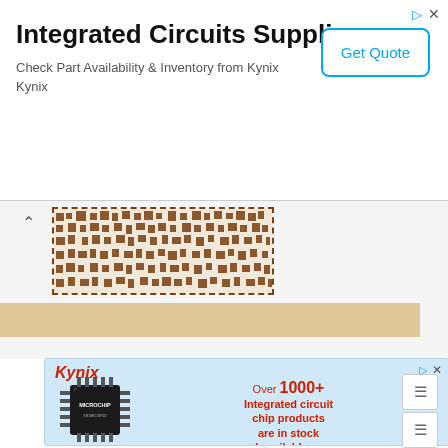Integrated Circuits Supplier
Check Part Availability & Inventory from Kynix
Kynix
[Figure (screenshot): Get Quote button with blue border]
[Figure (other): QR code / barcode image with dashed border]
[Figure (advertisement): Kynix ad banner: Over 1000+ Integrated circuit chip products are in stock and available now. Shows Microchip IC chip image. Integrated Circuits Supplier by Kynix.]
Integrated Circuits Supplier
Kynix